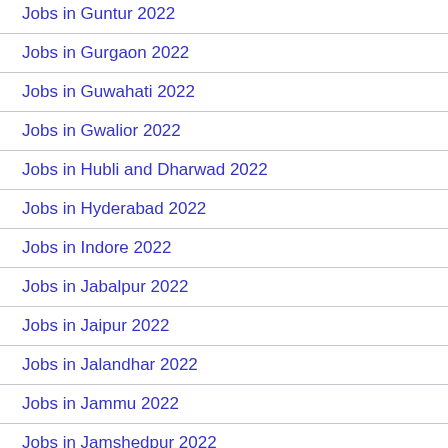Jobs in Guntur 2022
Jobs in Gurgaon 2022
Jobs in Guwahati 2022
Jobs in Gwalior 2022
Jobs in Hubli and Dharwad 2022
Jobs in Hyderabad 2022
Jobs in Indore 2022
Jobs in Jabalpur 2022
Jobs in Jaipur 2022
Jobs in Jalandhar 2022
Jobs in Jammu 2022
Jobs in Jamshedpur 2022
Jobs in Jhansi 2022